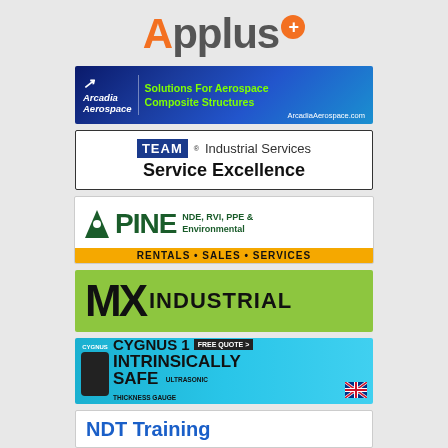[Figure (logo): Applus+ company logo with orange A, grey 'pplus' text, and orange circle with plus sign]
[Figure (logo): Arcadia Aerospace banner - Solutions For Aerospace Composite Structures, blue gradient background]
[Figure (logo): TEAM Industrial Services - Service Excellence banner, white with blue TEAM box]
[Figure (logo): Pine NDE, RVI, PPE & Environmental - Rentals Sales Services banner, green and yellow]
[Figure (logo): MX Industrial banner on green/lime background]
[Figure (logo): Cygnus 1 Intrinsically Safe Ultrasonic Thickness Gauge - Free Quote, blue background]
[Figure (logo): NDT Training banner, white background with blue text]